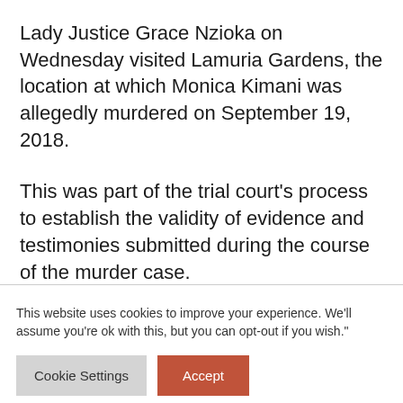Lady Justice Grace Nzioka on Wednesday visited Lamuria Gardens, the location at which Monica Kimani was allegedly murdered on September 19, 2018.
This was part of the trial court's process to establish the validity of evidence and testimonies submitted during the course of the murder case.
This website uses cookies to improve your experience. We'll assume you're ok with this, but you can opt-out if you wish."